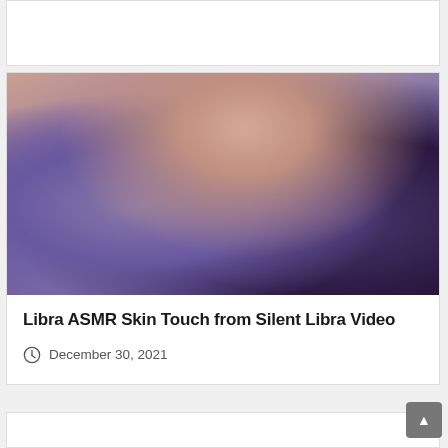[Figure (photo): Partial card at top of page, white background card with no visible content]
[Figure (photo): Close-up photo of a person in dark lace lingerie with hands touching, purple/dark moody lighting]
Libra ASMR Skin Touch from Silent Libra Video
December 30, 2021
[Figure (photo): Partial card at bottom of page, partially cropped]